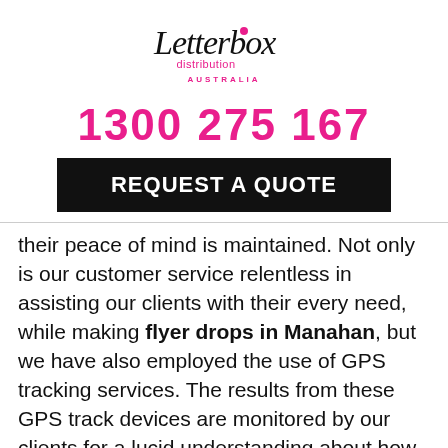[Figure (logo): Letterbox Distribution Australia logo — stylized cursive text with a pink dot]
1300 275 167
REQUEST A QUOTE
their peace of mind is maintained. Not only is our customer service relentless in assisting our clients with their every need, while making flyer drops in Manahan, but we have also employed the use of GPS tracking services. The results from these GPS track devices are monitored by our clients for a lucid understanding about how far the campaign has been successful. With the track reports we provide them with, they can see where their marketing has been done and the areas that are still left to be covered. Our GPS track reports
[Figure (logo): Google reCAPTCHA badge — recycling arrows icon with Privacy · Terms text]